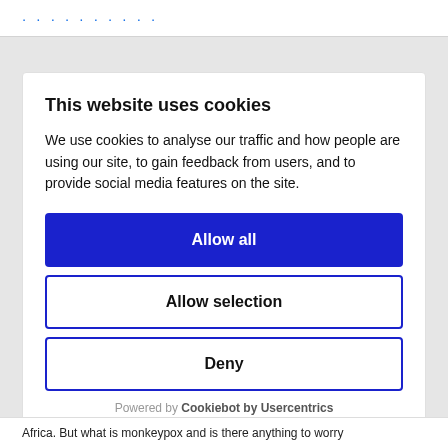...
This website uses cookies
We use cookies to analyse our traffic and how people are using our site, to gain feedback from users, and to provide social media features on the site.
Allow all
Allow selection
Deny
Powered by Cookiebot by Usercentrics
Africa. But what is monkeypox and is there anything to worry